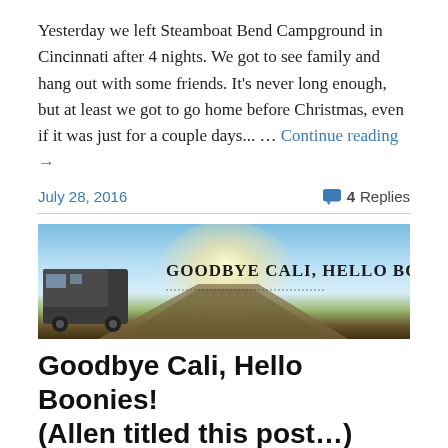Yesterday we left Steamboat Bend Campground in Cincinnati after 4 nights. We got to see family and hang out with some friends. It's never long enough, but at least we got to go home before Christmas, even if it was just for a couple days... … Continue reading →
July 28, 2016
4 Replies
[Figure (photo): Banner image for 'Goodbye Cali, Hello Boonies!' blog post, showing an RV parked on a dirt road under a wide open sky at sunset, with text 'Goodbye Cali, Hello Boonies!' overlaid.]
Goodbye Cali, Hello Boonies! (Allen titled this post…)
We got the h-e-double hockey sticks outta California